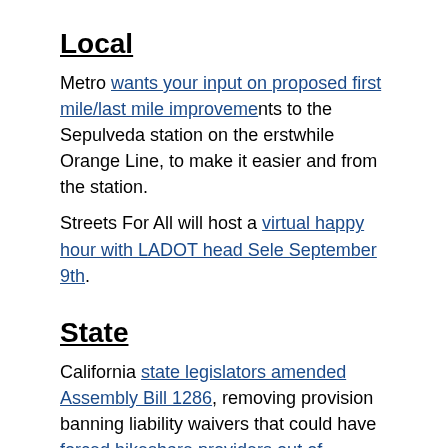Local
Metro wants your input on proposed first mile/last mile improvements to the Sepulveda station on the erstwhile Orange Line, to make it easier and from the station.
Streets For All will host a virtual happy hour with LADOT head Sele September 9th.
State
California state legislators amended Assembly Bill 1286, removing provision banning liability waivers that could have forced bikeshare providers out of business.
No surprise here, as bike thefts are up in San Mateo.
National
Outside tells you what you need to know about bike lights. I can at